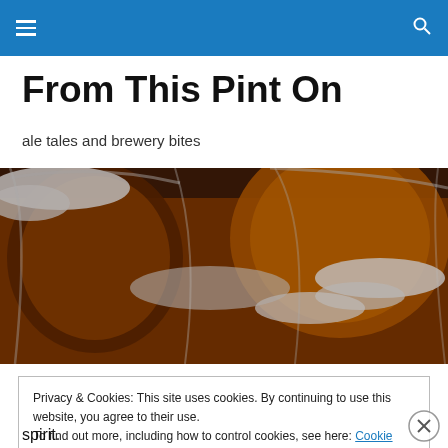Navigation bar with menu and search icons
From This Pint On
ale tales and brewery bites
[Figure (photo): Close-up photo of beer glasses with amber beer and white foam spilling over the edges]
Privacy & Cookies: This site uses cookies. By continuing to use this website, you agree to their use.
To find out more, including how to control cookies, see here: Cookie Policy
[Close and accept button]
spirit.